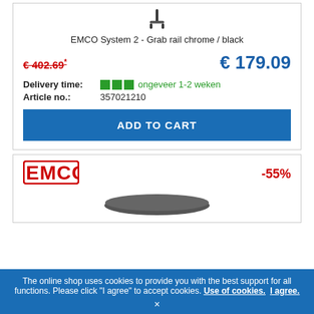[Figure (photo): Grab rail product image (chrome/black), shown partially at top of first product card]
EMCO System 2 - Grab rail chrome / black
€ 402.69* (crossed out, red)  € 179.09 (blue, new price)
Delivery time: ■■■ ongeveer 1-2 weken
Article no.: 357021210
ADD TO CART
[Figure (logo): EMCO logo in red with bold block letters]
-55%
[Figure (photo): Second EMCO product image partially visible at bottom]
The online shop uses cookies to provide you with the best support for all functions. Please click "I agree" to accept cookies. Use of cookies. I agree.